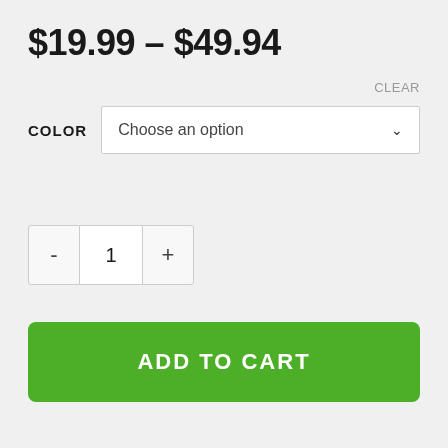$19.99 – $49.94
CLEAR
COLOR   Choose an option
- 1 +
ADD TO CART